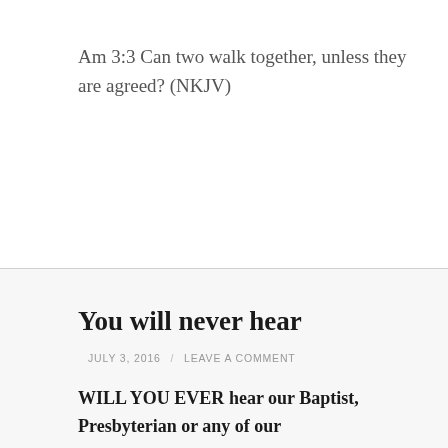Am 3:3 Can two walk together, unless they are agreed? (NKJV)
You will never hear
JULY 3, 2016 / LEAVE A COMMENT
WILL YOU EVER hear our Baptist, Presbyterian or any of our